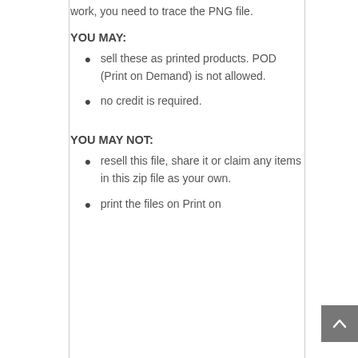work, you need to trace the PNG file.
YOU MAY:
sell these as printed products. POD (Print on Demand) is not allowed.
no credit is required.
YOU MAY NOT:
resell this file, share it or claim any items in this zip file as your own.
print the files on Print on